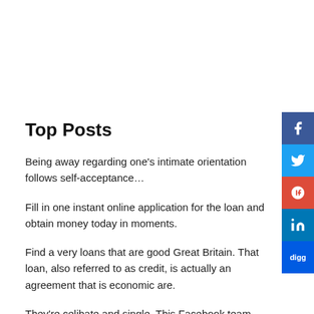Top Posts
Being away regarding one’s intimate orientation follows self-acceptance…
Fill in one instant online application for the loan and obtain money today in moments.
Find a very loans that are good Great Britain. That loan, also referred to as credit, is actually an agreement that is economic are.
They’re celibate and single. This Facebook team brings them